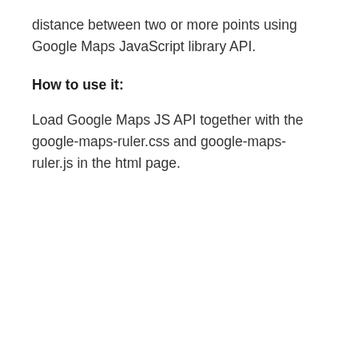distance between two or more points using Google Maps JavaScript library API.
How to use it:
Load Google Maps JS API together with the google-maps-ruler.css and google-maps-ruler.js in the html page.